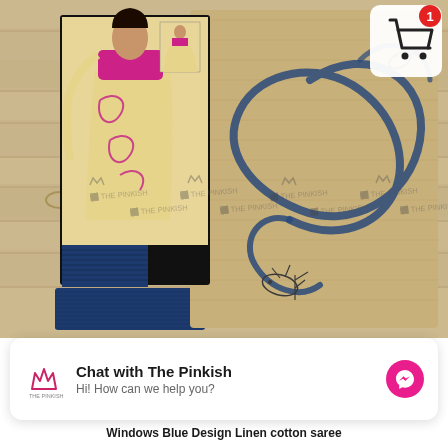[Figure (photo): Product photo of a Windows Blue Design Linen cotton saree displayed on a wooden surface. Shows the folded fabric in beige/cream with blue hand-painted wave/scroll motifs and bird/fish drawings. Also includes a catalog card showing a model wearing the saree with magenta blouse, plus a navy blue fabric swatch. The Pinkish watermark is repeated across the image. A cart icon with notification badge '1' appears in the top right corner.]
Chat with The Pinkish
Hi! How can we help you?
Windows Blue Design Linen cotton saree